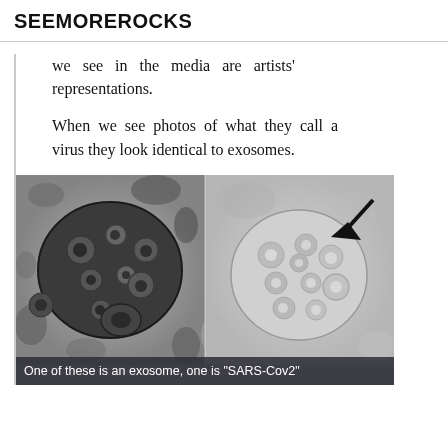SEEMOREROCKS
we see in the media are artists' representations.
When we see photos of what they call a virus they look identical to exosomes.
[Figure (photo): Two side-by-side grayscale electron microscope images of spherical cell structures. Left image shows a dark, densely packed round structure (exosome). Right image shows a lighter, rounded structure with an arrow pointing to it (labeled as SARS-CoV2). Caption at bottom reads: One of these is an exosome, one is "SARS-Cov2"]
One of these is an exosome, one is "SARS-Cov2"